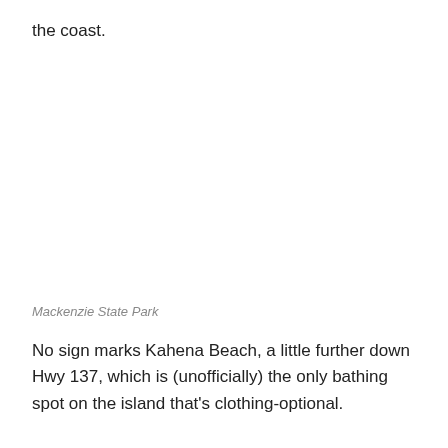the coast.
Mackenzie State Park
No sign marks Kahena Beach, a little further down Hwy 137, which is (unofficially) the only bathing spot on the island that's clothing-optional.